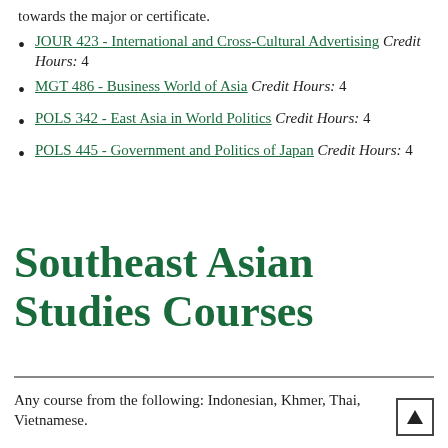towards the major or certificate.
JOUR 423 - International and Cross-Cultural Advertising Credit Hours: 4
MGT 486 - Business World of Asia Credit Hours: 4
POLS 342 - East Asia in World Politics Credit Hours: 4
POLS 445 - Government and Politics of Japan Credit Hours: 4
Southeast Asian Studies Courses
Any course from the following: Indonesian, Khmer, Thai, Vietnamese.